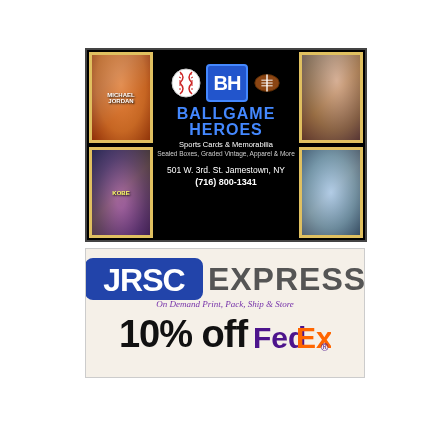[Figure (illustration): Ballgame Heroes Sports Cards & Memorabilia advertisement. Black background with sports card images on left and right sides. Center shows baseball and football icons flanking a blue 'BH' logo box, with 'BALLGAME HEROES' in blue text, subtitle 'Sports Cards & Memorabilia', 'Sealed Boxes, Graded Vintage, Apparel & More', address '501 W. 3rd. St. Jamestown, NY', and phone '(716) 800-1341'.]
[Figure (illustration): JRSC EXPRESS advertisement on cream background. Shows 'JRSC' in bold blue block letters followed by 'EXPRESS' in gray. Tagline 'On Demand Print, Pack, Ship & Store' in purple italic. Below is '10% off FedEx.' in large black and FedEx branded text.]